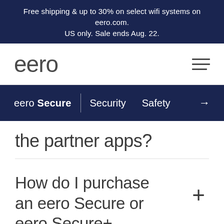Free shipping & up to 30% on select wifi systems on eero.com. US only. Sale ends Aug. 22.
[Figure (logo): eero logo in large light-weight font]
eero Secure  Security  Safety
the partner apps?
How do I purchase an eero Secure or eero Secure+ subscription?